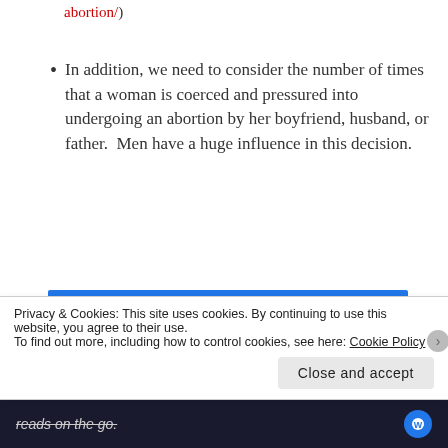abortion/)
In addition, we need to consider the number of times that a woman is coerced and pressured into undergoing an abortion by her boyfriend, husband, or father.  Men have a huge influence in this decision.
[Figure (screenshot): Advertisement banner with blue background reading 'Need Speed? Get Pressable' with a figure of a person diving/flying on the right side.]
REPORT THIS AD
“If legal abortion has given women more choice, it
Privacy & Cookies: This site uses cookies. By continuing to use this website, you agree to their use.
To find out more, including how to control cookies, see here: Cookie Policy
Close and accept
reads on the go.